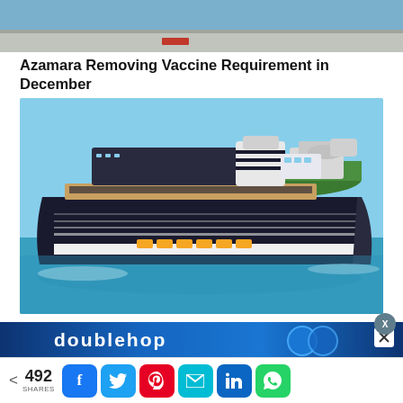[Figure (photo): Top portion of a photo showing a person standing on a dock or pier, with water and concrete surface visible]
Azamara Removing Vaccine Requirement in December
[Figure (photo): A large luxury cruise ship sailing in turquoise blue water with a green island visible in the background]
[Figure (infographic): Advertisement banner for 'doublehop' service with blue background and circular logo elements, with an X close button]
< 492 SHARES (social share bar with Facebook, Twitter, Pinterest, Email, LinkedIn, WhatsApp buttons)